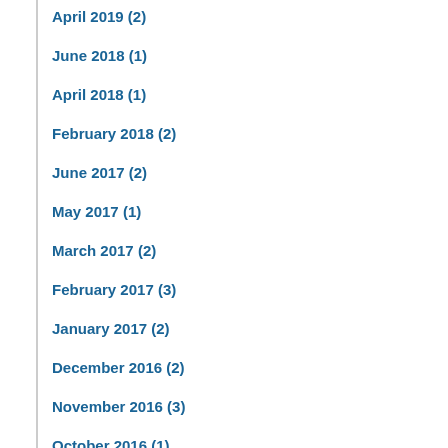April 2019 (2)
June 2018 (1)
April 2018 (1)
February 2018 (2)
June 2017 (2)
May 2017 (1)
March 2017 (2)
February 2017 (3)
January 2017 (2)
December 2016 (2)
November 2016 (3)
October 2016 (1)